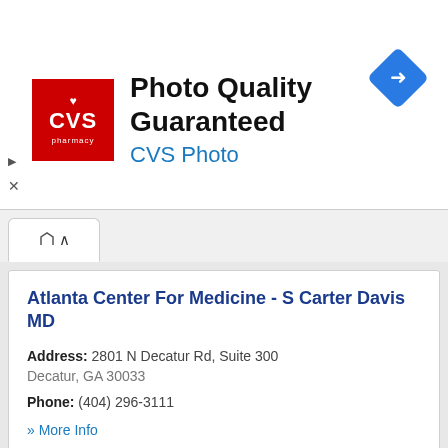[Figure (other): CVS Pharmacy advertisement banner with red CVS logo, text 'Photo Quality Guaranteed' and 'CVS Photo', and a blue navigation diamond icon on the right]
Atlanta Center For Medicine - S Carter Davis MD
Address: 2801 N Decatur Rd, Suite 300 Decatur, GA 30033
Phone: (404) 296-3111
» More Info
Atlanta Center For Medicine - Thomas J Mizell MD
Address: 2801 N Decatur Rd, Suite 300